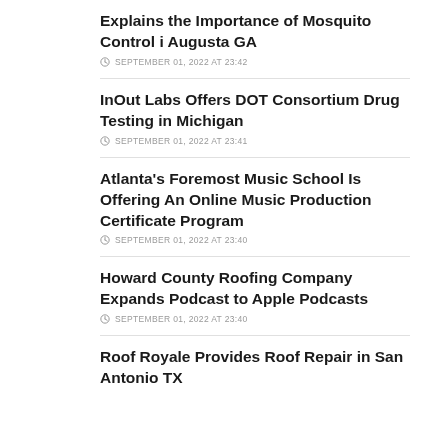Explains the Importance of Mosquito Control i Augusta GA
SEPTEMBER 01, 2022 AT 23:42
InOut Labs Offers DOT Consortium Drug Testing in Michigan
SEPTEMBER 01, 2022 AT 23:41
Atlanta's Foremost Music School Is Offering An Online Music Production Certificate Program
SEPTEMBER 01, 2022 AT 23:40
Howard County Roofing Company Expands Podcast to Apple Podcasts
SEPTEMBER 01, 2022 AT 23:40
Roof Royale Provides Roof Repair in San Antonio TX